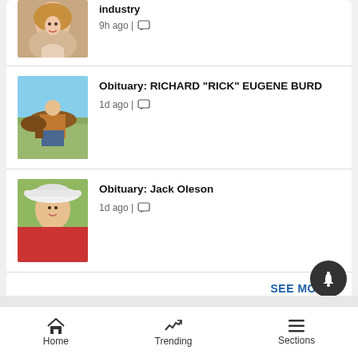[Figure (photo): Woman smiling, partial top of article]
9h ago
[Figure (photo): Man in yellow jacket riding a brown horse in a field]
Obituary: RICHARD "RICK" EUGENE BURD
1d ago
[Figure (photo): Older man wearing a white cowboy hat and red shirt, smiling outdoors]
Obituary: Jack Oleson
1d ago
SEE MORE ›
Home    Trending    Sections